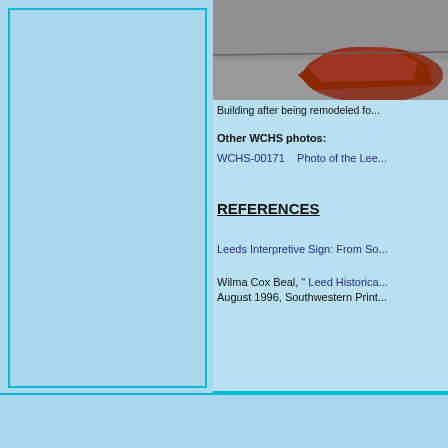[Figure (photo): Photo of a reddish-brown rock specimen on a grey surface, cropped at top]
Building after being remodeled fo...
Other WCHS photos:
WCHS-00171    Photo of the Lee...
REFERENCES
Leeds Interpretive Sign: From So...
Wilma Cox Beal, " Leed Historica... August 1996, Southwestern Print...
Copyright © 2011-2... Site M... Privacy Policy  -  T...